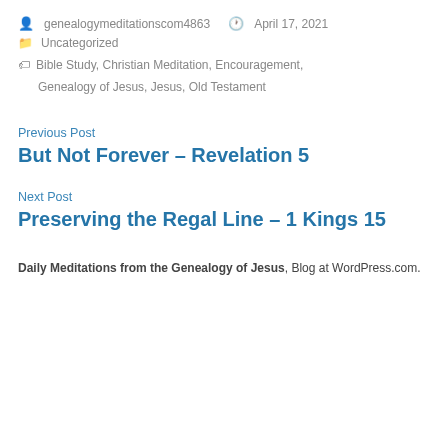genealogymeditationscom4863   April 17, 2021
Uncategorized
Bible Study, Christian Meditation, Encouragement, Genealogy of Jesus, Jesus, Old Testament
Previous Post
But Not Forever – Revelation 5
Next Post
Preserving the Regal Line – 1 Kings 15
Daily Meditations from the Genealogy of Jesus, Blog at WordPress.com.